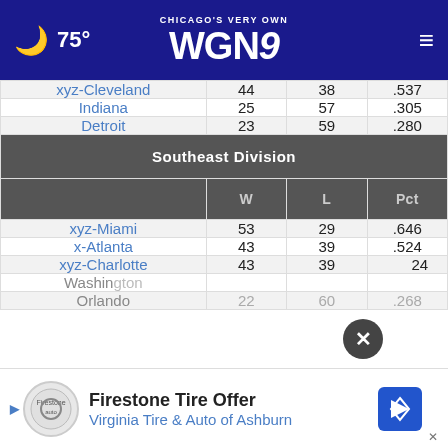Chicago's Very Own WGN 9 — 75°
| Team | W | L | Pct |
| --- | --- | --- | --- |
| xyz-Cleveland | 44 | 38 | .537 |
| Indiana | 25 | 57 | .305 |
| Detroit | 23 | 59 | .280 |
| Southeast Division |  |  |  |
|  | W | L | Pct |
| xyz-Miami | 53 | 29 | .646 |
| x-Atlanta | 43 | 39 | .524 |
| xyz-Charlotte | 43 | 39 | .524 |
| Washington |  |  |  |
| Orlando | 22 | 60 | .268 |
[Figure (other): Firestone / Virginia Tire & Auto of Ashburn advertisement banner with logo and navigation arrow icon]